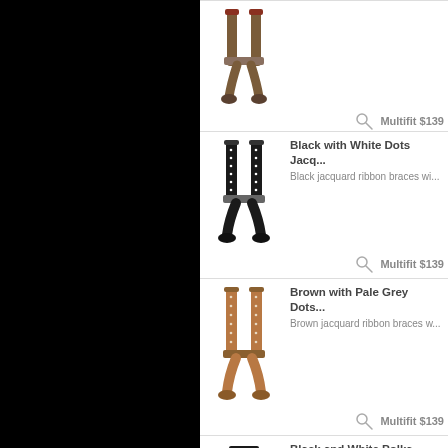[Figure (illustration): Product row 1 - suspenders with clip ends, top of page]
Multifit $139
[Figure (illustration): Black with White Dots Jacquard suspenders]
Black with White Dots Jacq...
Black jacquard ribbon braces wi...
Multifit $139
[Figure (illustration): Brown with Pale Grey Dots suspenders]
Brown with Pale Grey Dots...
Brown jacquard ribbon braces w...
Multifit $139
[Figure (illustration): Black and White Polka Dot suspenders]
Black and White Polka Dot...
Black and white polka dot jacqu...